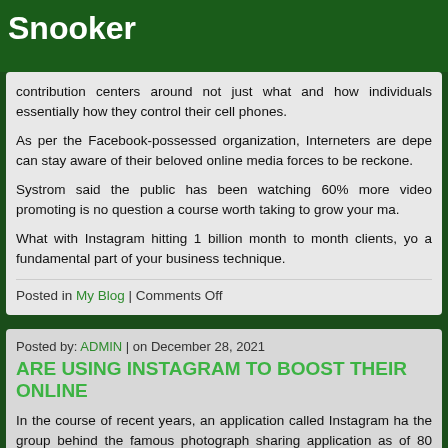Snooker
contribution centers around not just what and how individuals essentially how they control their cell phones.
As per the Facebook-possessed organization, Interneters are depe can stay aware of their beloved online media forces to be reckone.
Systrom said the public has been watching 60% more video promoting is no question a course worth taking to grow your ma.
What with Instagram hitting 1 billion month to month clients, yo a fundamental part of your business technique.
Posted in My Blog | Comments Off
Posted by: ADMIN | on December 28, 2021
ARE USING INSTAGRAM TO BOOST THEIR ONLINE
In the course of recent years, an application called Instagram ha the group behind the famous photograph sharing application as of 80 million clients at present joined to their administration.